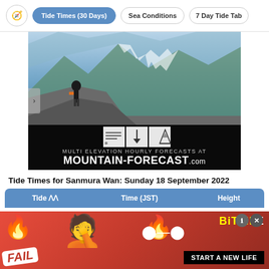Tide Times (30 Days) | Sea Conditions | 7 Day Tide Tab
[Figure (photo): Advertisement for mountain-forecast.com showing a hiker on a mountain ridge with text 'MULTI ELEVATION HOURLY FORECASTS AT MOUNTAIN-FORECAST.com']
Tide Times for Sanmura Wan: Sunday 18 September 2022
| Tide | Time (JST) | Height |
| --- | --- | --- |
[Figure (photo): Advertisement banner for BitLife mobile game showing FAIL text, emoji faces, fire emojis, and 'START A NEW LIFE' text on red background]